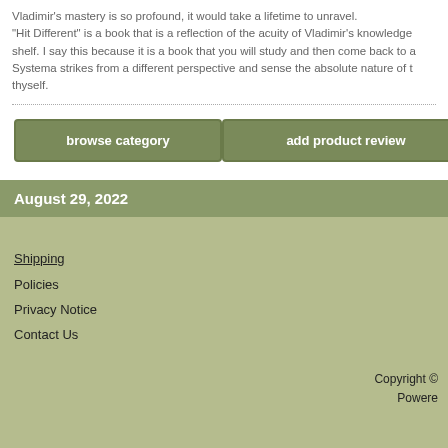Vladimir's mastery is so profound, it would take a lifetime to unravel. "Hit Different" is a book that is a reflection of the acuity of Vladimir's knowledge shelf. I say this because it is a book that you will study and then come back to a Systema strikes from a different perspective and sense the absolute nature of thyself.
browse category
add product review
August 29, 2022
Shipping
Policies
Privacy Notice
Contact Us
Copyright © Powered